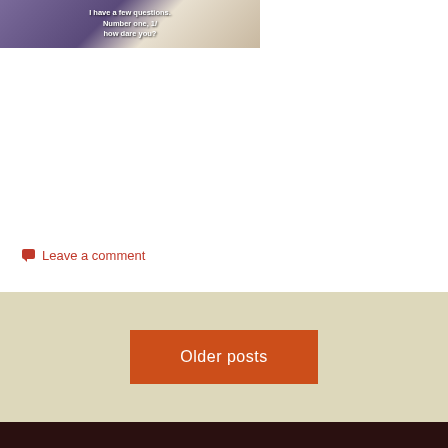[Figure (photo): Partial screenshot of a meme image showing a person in a polka dot shirt with text overlay reading 'I have a few questions. Number one, how dare you?']
Leave a comment
Older posts